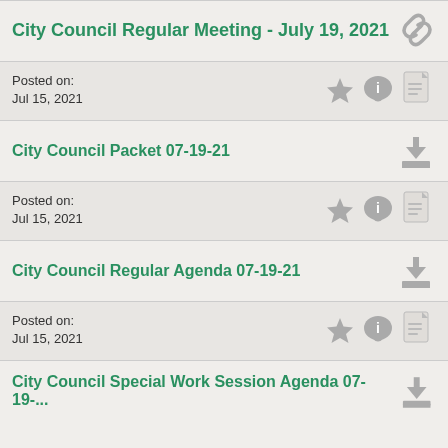City Council Regular Meeting - July 19, 2021
Posted on:
Jul 15, 2021
City Council Packet 07-19-21
Posted on:
Jul 15, 2021
City Council Regular Agenda 07-19-21
Posted on:
Jul 15, 2021
City Council Special Work Session Agenda 07-19-...